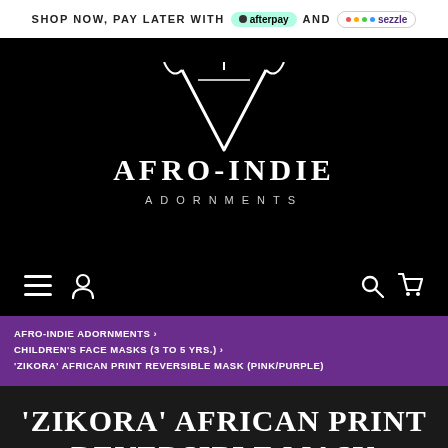SHOP NOW, PAY LATER WITH afterpay AND sezzle
[Figure (logo): Afro-Indie Adornments logo — stylized VA monogram in white on black background, with text AFRO-INDIE in large serif letters and ADORNMENTS in spaced capitals below]
[Figure (other): Navigation bar with hamburger menu icon, user icon on left; search icon and cart icon on right, white on black]
AFRO-INDIE ADORNMENTS › CHILDREN'S FACE MASKS (3 TO 5 YRS.) › 'ZIKORA' AFRICAN PRINT REVERSIBLE MASK (PINK/PURPLE)
'ZIKORA' AFRICAN PRINT REVERSIBLE MASK